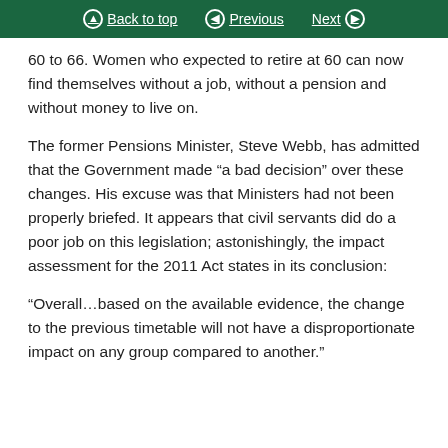Back to top  Previous  Next
60 to 66. Women who expected to retire at 60 can now find themselves without a job, without a pension and without money to live on.
The former Pensions Minister, Steve Webb, has admitted that the Government made “a bad decision” over these changes. His excuse was that Ministers had not been properly briefed. It appears that civil servants did do a poor job on this legislation; astonishingly, the impact assessment for the 2011 Act states in its conclusion:
“Overall…based on the available evidence, the change to the previous timetable will not have a disproportionate impact on any group compared to another.”